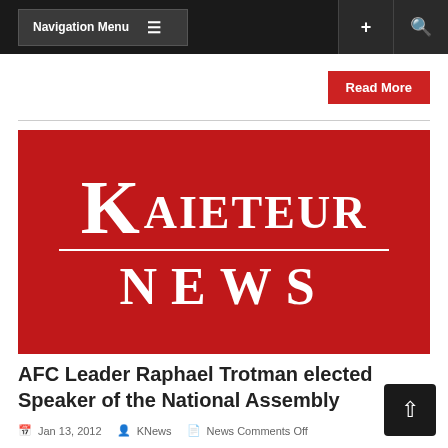Navigation Menu
Read More
[Figure (logo): Kaieteur News logo — white serif text on red background, large K followed by AIETEUR on top row, NEWS on bottom row with dividing line]
AFC Leader Raphael Trotman elected Speaker of the National Assembly
Jan 13, 2012  KNews  News Comments Off